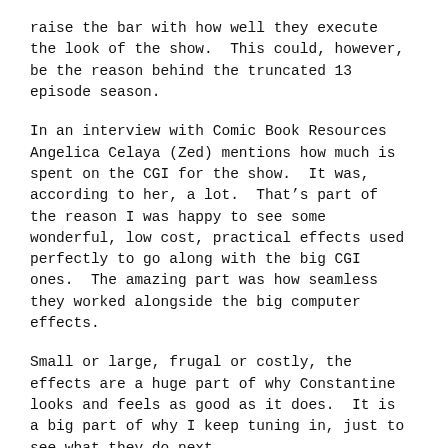raise the bar with how well they execute the look of the show.  This could, however, be the reason behind the truncated 13 episode season.
In an interview with Comic Book Resources Angelica Celaya (Zed) mentions how much is spent on the CGI for the show.  It was, according to her, a lot.  That’s part of the reason I was happy to see some wonderful, low cost, practical effects used perfectly to go along with the big CGI ones.  The amazing part was how seamless they worked alongside the big computer effects.
Small or large, frugal or costly, the effects are a huge part of why Constantine looks and feels as good as it does.  It is a big part of why I keep tuning in, just to see what they do next.
Connecting Pl...